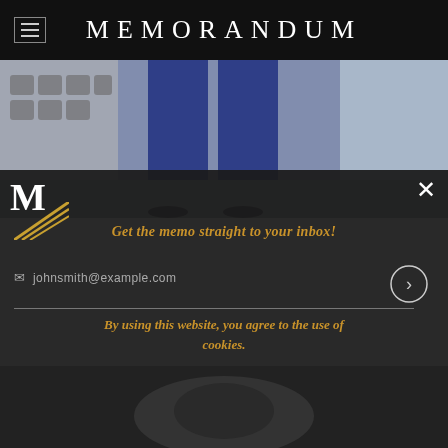MEMORANDUM
[Figure (photo): Fashion photo showing lower body of a person wearing wide-leg navy blue pants and black heels, standing on a street pavement with a decorative wall in the background]
M
Get the memo straight to your inbox!
johnsmith@example.com
By using this website, you agree to the use of cookies.
[Figure (photo): Dark photo showing a person from above, partial view]